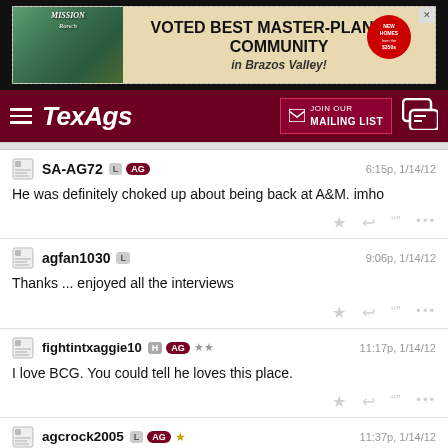[Figure (screenshot): Mission Ranch advertisement: Voted Best Master-Planned Community in Brazos Valley]
TexAgs — JOIN OUR MAILING LIST
SA-AG72 L AG   6:15p, 1/14/12
He was definitely choked up about being back at A&M. imho
agfan1030 L   9:06p, 1/14/12
Thanks ... enjoyed all the interviews
fightintxaggie10 H AG **   11:17p, 1/14/12
I love BCG. You could tell he loves this place.
agcrock2005 L AG *   11:37p, 1/14/12
That's awesome. Think he's definitely wishing he could still be here...or he's just really pissed that he's stuck in shithole Lubbock.